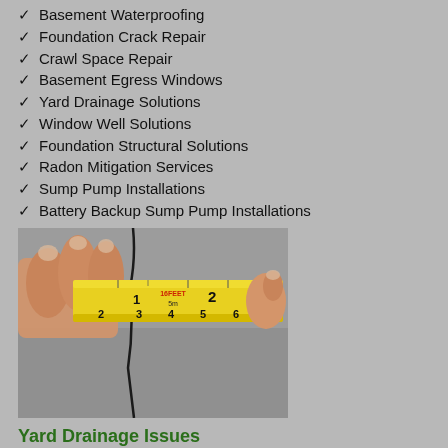✓ Basement Waterproofing
✓ Foundation Crack Repair
✓ Crawl Space Repair
✓ Basement Egress Windows
✓ Yard Drainage Solutions
✓ Window Well Solutions
✓ Foundation Structural Solutions
✓ Radon Mitigation Services
✓ Sump Pump Installations
✓ Battery Backup Sump Pump Installations
[Figure (photo): A hand holding a yellow tape measure against a cracked concrete foundation, measuring a crack. The tape shows markings up to 6 inches/feet visible.]
Yard Drainage Issues
Does your property suffer from serious drainage issues? If so, it can